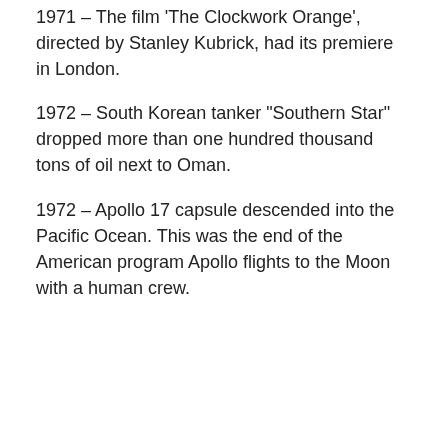1971 – The film 'The Clockwork Orange', directed by Stanley Kubrick, had its premiere in London.
1972 – South Korean tanker "Southern Star" dropped more than one hundred thousand tons of oil next to Oman.
1972 – Apollo 17 capsule descended into the Pacific Ocean. This was the end of the American program Apollo flights to the Moon with a human crew.